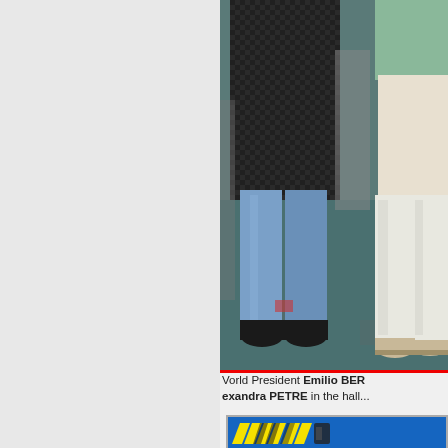[Figure (photo): Photo showing people standing, cropped at torso/legs level. One person wears a dark checkered blazer with light blue jeans and black boots; another wears white trousers and beige sneakers, with a green top. Background shows industrial/exhibition hall flooring.]
World President Emilio BER... exandra PETRE in the hall...
[Figure (logo): Logo with yellow diagonal stripe lettering on blue background, partially visible.]